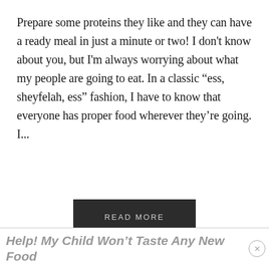Prepare some proteins they like and they can have a ready meal in just a minute or two! I don't know about you, but I'm always worrying about what my people are going to eat. In a classic “ess, sheyfelah, ess” fashion, I have to know that everyone has proper food wherever they’re going. I...
READ MORE
Help! My Child Won’t Taste Any New Food